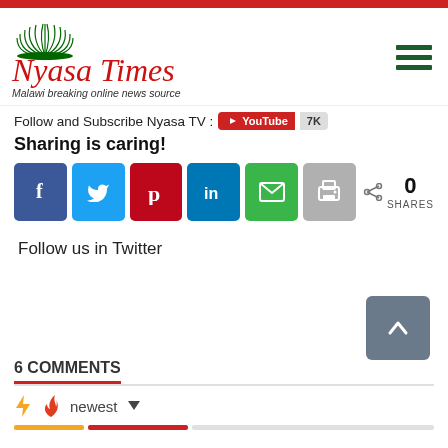Nyasa Times — Malawi breaking online news source
Follow and Subscribe Nyasa TV : YouTube 7K
Sharing is caring!
[Figure (infographic): Social share buttons: Facebook, Twitter, Pinterest, LinkedIn, Email, Print. Share count shows 0 SHARES.]
Follow us in Twitter
6 COMMENTS
newest